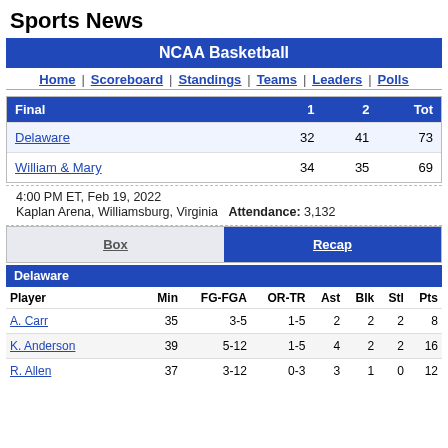Sports News
NCAA Basketball
Home | Scoreboard | Standings | Teams | Leaders | Polls
| Final | 1 | 2 | Tot |
| --- | --- | --- | --- |
| Delaware | 32 | 41 | 73 |
| William & Mary | 34 | 35 | 69 |
4:00 PM ET, Feb 19, 2022
Kaplan Arena, Williamsburg, Virginia  Attendance: 3,132
Box | Recap
| Delaware |  |  |  |  |  |  |  |
| --- | --- | --- | --- | --- | --- | --- | --- |
| Player | Min | FG-FGA | OR-TR | Ast | Blk | Stl | Pts |
| --- | --- | --- | --- | --- | --- | --- | --- |
| A. Carr | 35 | 3-5 | 1-5 | 2 | 2 | 2 | 8 |
| K. Anderson | 39 | 5-12 | 1-5 | 4 | 2 | 2 | 16 |
| R. Allen | 37 | 3-12 | 0-3 | 3 | 1 | 0 | 12 |